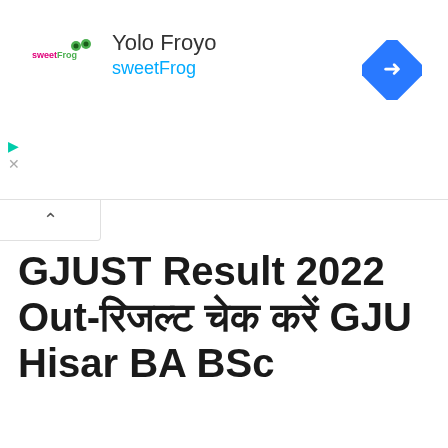[Figure (screenshot): sweetFrog frozen yogurt advertisement banner showing sweetFrog logo, 'Yolo Froyo' text, 'sweetFrog' subtitle in blue, and a blue navigation direction icon on the right]
GJUST Result 2022 Out-रिजल्ट चेक करें GJU Hisar BA BSc